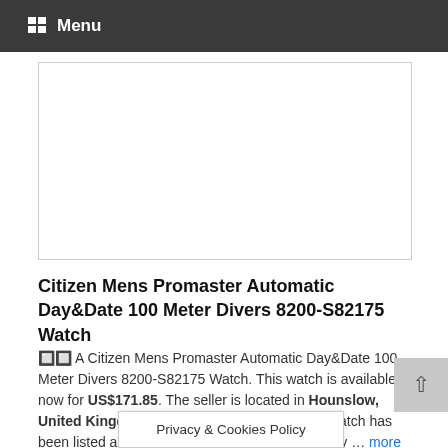Menu
[Figure (photo): Product image placeholder for Citizen Mens Promaster Automatic Day&Date 100 Meter Divers 8200-S82175 Watch]
Citizen Mens Promaster Automatic Day&Date 100 Meter Divers 8200-S82175 Watch
🔲🔲 A Citizen Mens Promaster Automatic Day&Date 100 Meter Divers 8200-S82175 Watch. This watch is available now for US$171.85. The seller is located in Hounslow, United Kingdom. The condition of this Divers Watch has been listed as "Used". This watch is being sold by … more about this watch
Privacy & Cookies Policy